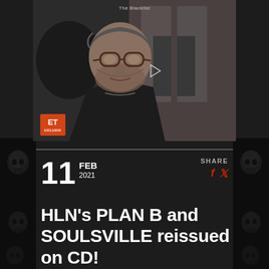[Figure (screenshot): Video thumbnail showing a middle-aged man with glasses and grey beard wearing a dark hoodie. A play button triangle is visible in the center. 'The Blacklist' label appears at top. ET Exclusive badge in lower left corner.]
11 FEB 2021
SHARE
HLN's PLAN B and SOULSVILLE reissued on CD!